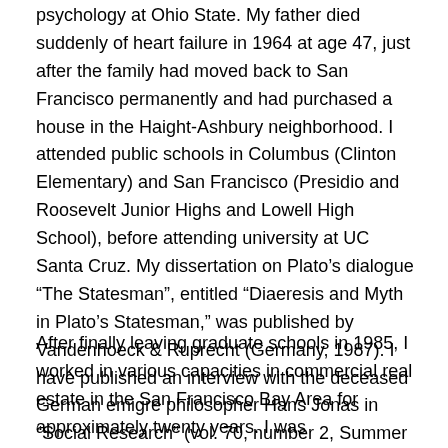psychology at Ohio State.  My father died suddenly of heart failure in 1964 at age 47, just after the family had moved back to San Francisco permanently and had purchased a house in the Haight-Ashbury neighborhood.  I attended public schools in Columbus (Clinton Elementary) and San Francisco (Presidio and Roosevelt Junior Highs and Lowell High School), before attending university at UC Santa Cruz. My dissertation on Plato’s dialogue “The Statesman”, entitled “Diaeresis and Myth in Plato’s Statesman,” was published by Vandenhoeck & Ruprecht (Germany, 1987). I have published an interview with the deceased German emigre philosopher Hans Jonas in “Social Research” (vol. 70, number 2,  Summer 2003).
After finally leaving graduate schools in 1985, I worked in various capacities in commercial real estate in the San Francisco Bay Area for approximately twenty years.  I was